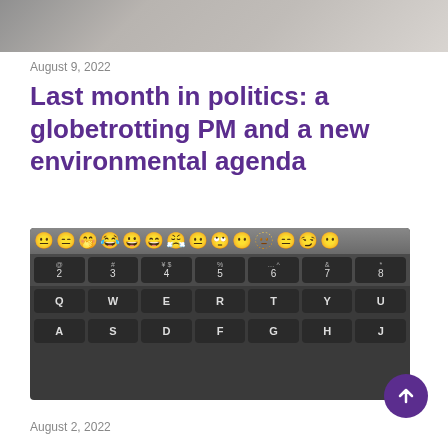[Figure (photo): Top portion of an image, partially cropped, showing a blurred background scene]
August 9, 2022
Last month in politics: a globetrotting PM and a new environmental agenda
[Figure (photo): Close-up photo of a laptop keyboard showing emoji row at top of touch bar, and QWERTY keys including number row (2-8), Q W E R T Y U row, and A S D F G H J row]
August 2, 2022